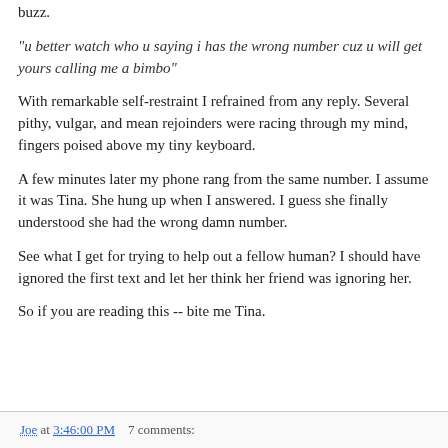buzz.
"u better watch who u saying i has the wrong number cuz u will get yours calling me a bimbo"
With remarkable self-restraint I refrained from any reply. Several pithy, vulgar, and mean rejoinders were racing through my mind, fingers poised above my tiny keyboard.
A few minutes later my phone rang from the same number. I assume it was Tina. She hung up when I answered. I guess she finally understood she had the wrong damn number.
See what I get for trying to help out a fellow human? I should have ignored the first text and let her think her friend was ignoring her.
So if you are reading this -- bite me Tina.
Joe at 3:46:00 PM    7 comments: